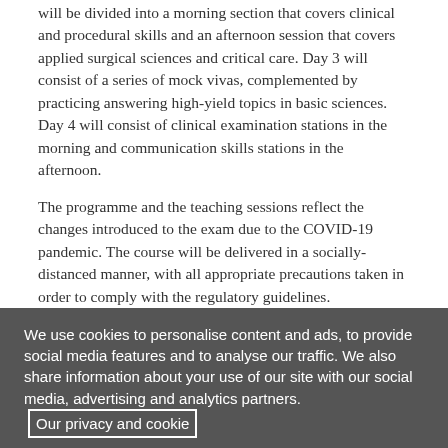will be divided into a morning session that covers clinical and procedural skills and an afternoon session that covers applied surgical sciences and critical care. Day 3 will consist of a series of mock vivas, complemented by practicing answering high-yield topics in basic sciences. Day 4 will consist of clinical examination stations in the morning and communication skills stations in the afternoon.
The programme and the teaching sessions reflect the changes introduced to the exam due to the COVID-19 pandemic. The course will be delivered in a socially-distanced manner, with all appropriate precautions taken in order to comply with the regulatory guidelines.
Topics Covered:
Anatomy:
Brachial plexus and upper limb nerve injuries
We use cookies to personalise content and ads, to provide social media features and to analyse our traffic. We also share information about your use of our site with our social media, advertising and analytics partners. Our privacy and cookie